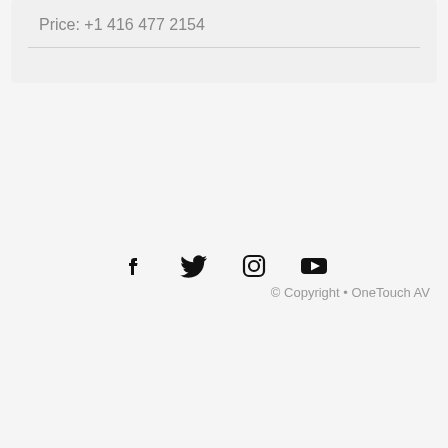Price: +1 416 477 2154
[Figure (infographic): Social media icons: Facebook, Twitter, Instagram, YouTube]
© Copyright • OneTouch AV